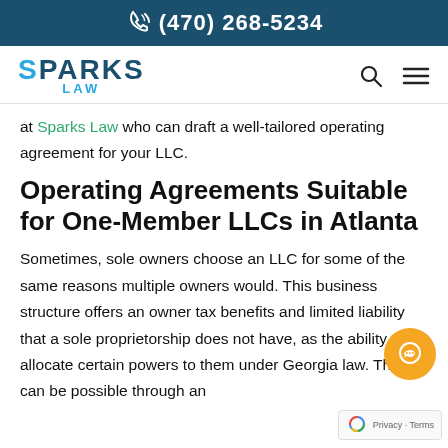(470) 268-5234
[Figure (logo): Sparks Law logo with search and hamburger menu icons]
at Sparks Law who can draft a well-tailored operating agreement for your LLC.
Operating Agreements Suitable for One-Member LLCs in Atlanta
Sometimes, sole owners choose an LLC for some of the same reasons multiple owners would. This business structure offers an owner tax benefits and limited liability that a sole proprietorship does not have, as the ability to allocate certain powers to them under Georgia law. This can be possible through an